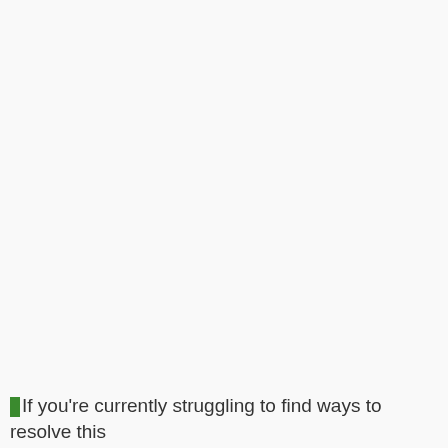If you're currently struggling to find ways to resolve this